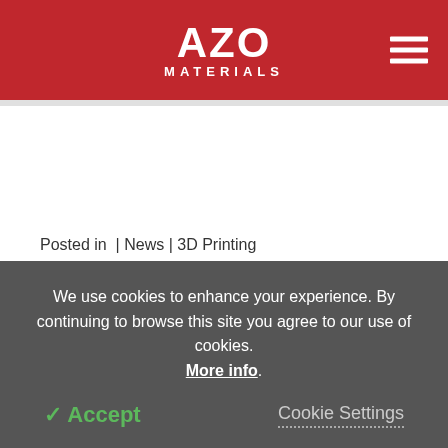AZO MATERIALS
Posted in  |  News  |  3D Printing
Electrochemical–Mechanical Combined
We use cookies to enhance your experience. By continuing to browse this site you agree to our use of cookies. More info.
✓ Accept   Cookie Settings